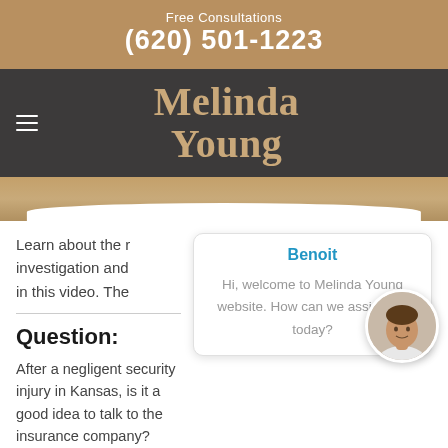Free Consultations
(620) 501-1223
[Figure (logo): Melinda Young law firm logo in gold serif font on dark background]
Learn about the investigation and in this video. The
Benoit
Hi, welcome to Melinda Young website. How can we assist you today?
Question:
After a negligent security injury in Kansas, is it a good idea to talk to the insurance company?
Answer: